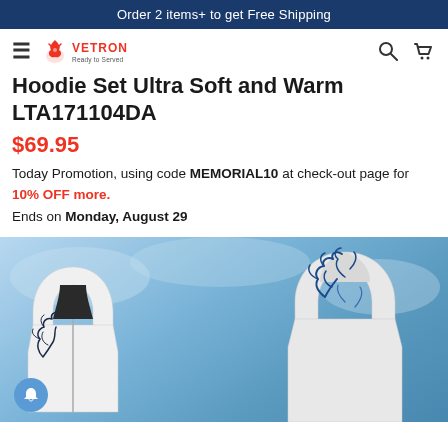Order 2 items+ to get Free Shipping
[Figure (logo): Vetron brand logo with red horse/knight icon and brand name VETRON]
Hoodie Set Ultra Soft and Warm LTA171104DA
$69.95
Today Promotion, using code MEMORIAL10 at check-out page for 10% OFF more. Ends on Monday, August 29
[Figure (photo): Two white hoodies with dark blue deer/antler graphic design on a light blue background]